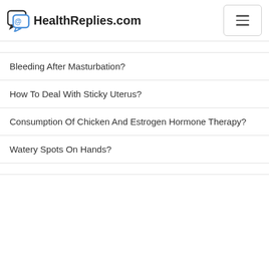HealthReplies.com
Bleeding After Masturbation?
How To Deal With Sticky Uterus?
Consumption Of Chicken And Estrogen Hormone Therapy?
Watery Spots On Hands?